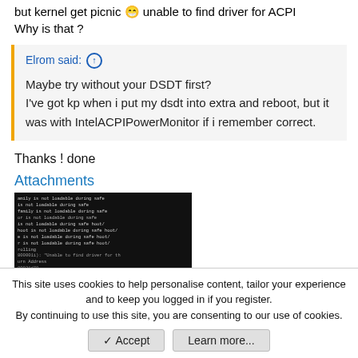but kernel get picnic 😁 unable to find driver for ACPI Why is that ?
Elrom said: ↑
Maybe try without your DSDT first?
I've got kp when i put my dsdt into extra and reboot, but it was with IntelACPIPowerMonitor if i remember correct.
Thanks ! done
Attachments
[Figure (screenshot): Terminal/boot log screenshot showing multiple lines of white text on black background, including messages about modules not loadable during safe boot and 'unable to find driver for th...' and 'turn Address' text]
This site uses cookies to help personalise content, tailor your experience and to keep you logged in if you register.
By continuing to use this site, you are consenting to our use of cookies.